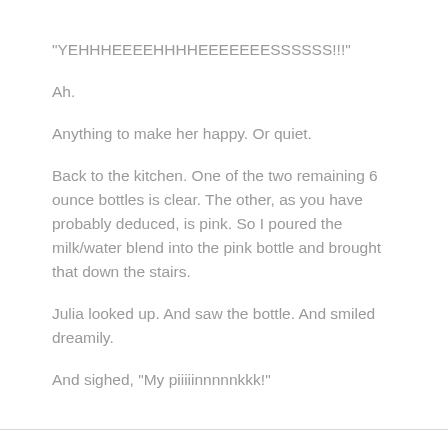"YEHHHEEEEHHHHEEEEEEESSSSSS!!!"
Ah.
Anything to make her happy.  Or quiet.
Back to the kitchen.  One of the two remaining 6 ounce bottles is clear.  The other, as you have probably deduced, is pink.  So I poured the milk/water blend into the pink bottle and brought that down the stairs.
Julia looked up.  And saw the bottle.  And smiled dreamily.
And sighed, "My piiiiinnnnnkkk!"